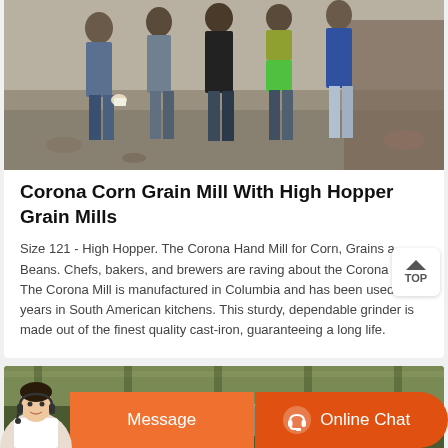[Figure (photo): Group photo of several people standing outdoors on rocky/dirt ground]
Corona Corn Grain Mill With High Hopper Grain Mills
Size 121 - High Hopper. The Corona Hand Mill for Corn, Grains and Beans. Chefs, bakers, and brewers are raving about the Corona Mill. The Corona Mill is manufactured in Columbia and has been used for years in South American kitchens. This sturdy, dependable grinder is made out of the finest quality cast-iron, guaranteeing a long life.
[Figure (photo): Partial photo visible at bottom — interior/warehouse scene with green tones]
Message
Online Chat